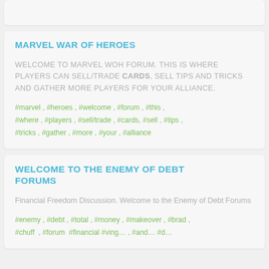[partial top card content clipped]
MARVEL WAR OF HEROES
WELCOME TO MARVEL WOH FORUM. THIS IS WHERE PLAYERS CAN SELL/TRADE CARDS, SELL TIPS AND TRICKS AND GATHER MORE PLAYERS FOR YOUR ALLIANCE.
#marvel , #heroes , #welcome , #forum , #this , #where , #players , #sell/trade , #cards, #sell , #tips , #tricks , #gather , #more , #your , #alliance
WELCOME TO THE ENEMY OF DEBT FORUMS
Financial Freedom Discussion. Welcome to the Enemy of Debt Forums
#enemy , #debt , #total , #money , #makeover , #brad , #chuff… #forum #financial #ving… #and… #d…